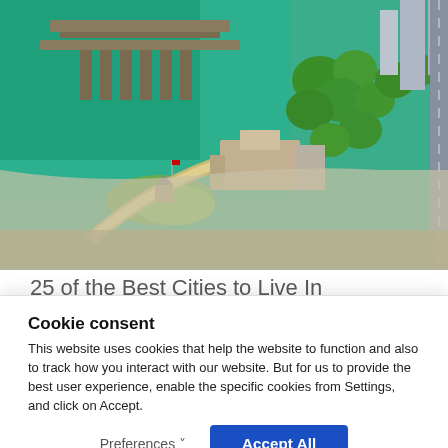[Figure (photo): Aerial view of a waterfront city area with green harbor water, piers, roads, trees, and urban buildings.]
25 of the Best Cities to Live In
www.tripminutes.com
[Figure (photo): Colorful abstract close-up strips of fabric or surfaces in purple, dark red/maroon, pink/magenta, and lime green colors.]
Cookie consent
This website uses cookies that help the website to function and also to track how you interact with our website. But for us to provide the best user experience, enable the specific cookies from Settings, and click on Accept.